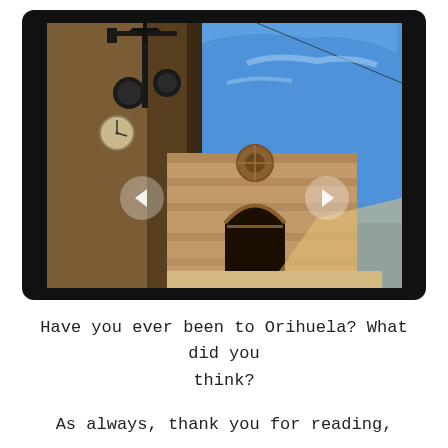[Figure (photo): Photograph of a historic stone church or cathedral in Orihuela, Spain, viewed from below with a blue sky background. Iron lamp posts and decorative ironwork visible in the foreground. Slideshow navigation arrows (left and right) visible as circular overlay buttons on the image.]
Have you ever been to Orihuela? What did you think?
As always, thank you for reading,